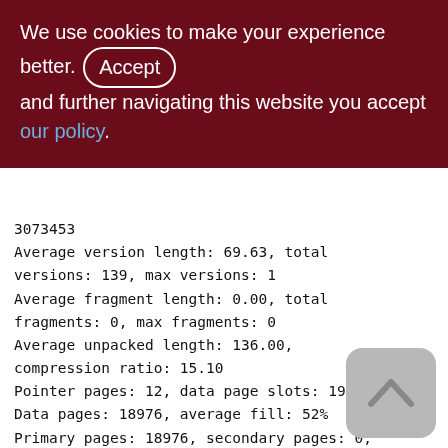We use cookies to make your experience better. By accepting and further navigating this website you accept our policy.
3073453
Average version length: 69.63, total versions: 139, max versions: 1
Average fragment length: 0.00, total fragments: 0, max fragments: 0
Average unpacked length: 136.00, compression ratio: 15.10
Pointer pages: 12, data page slots: 19016
Data pages: 18976, average fill: 52%
Primary pages: 18976, secondary pages: 0, swept pages: 7019
Empty pages: 38, full pages: 18009
Fill distribution: